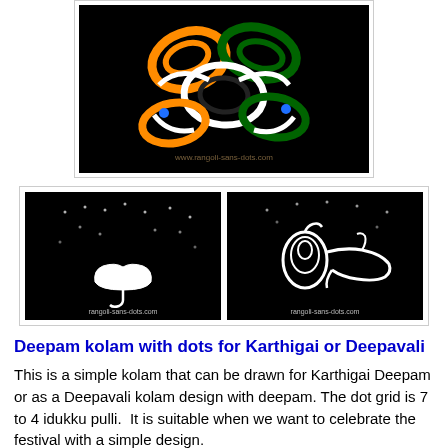[Figure (photo): A black-background rangoli/kolam design with orange, white and green swirl patterns resembling the Indian flag colors, with blue dots, on a dark background.]
[Figure (photo): Two side-by-side rangoli kolam designs on black backgrounds. Left image shows a simple deepam (lamp) shape with white dots scattered around. Right image shows a more detailed conch/deepam kolam design. Both images have 'rangoli-sans-dots.com' watermark.]
Deepam kolam with dots for Karthigai or Deepavali
This is a simple kolam that can be drawn for Karthigai Deepam or as a Deepavali kolam design with deepam. The dot grid is 7 to 4 idukku pulli.  It is suitable when we want to celebrate the festival with a simple design. A simple kolam that can be drawn for these festivals for